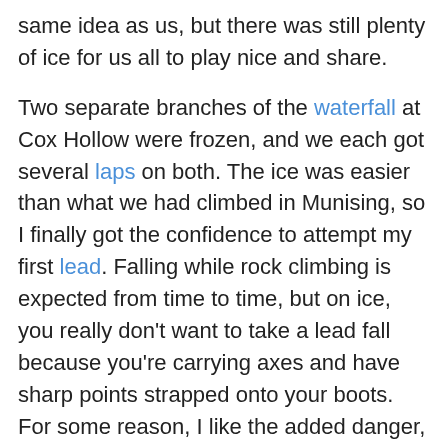same idea as us, but there was still plenty of ice for us all to play nice and share.
Two separate branches of the waterfall at Cox Hollow were frozen, and we each got several laps on both. The ice was easier than what we had climbed in Munising, so I finally got the confidence to attempt my first lead. Falling while rock climbing is expected from time to time, but on ice, you really don't want to take a lead fall because you're carrying axes and have sharp points strapped onto your boots. For some reason, I like the added danger, though. My first ice lead went smoothly, and now I want to try something a bit more challenging.